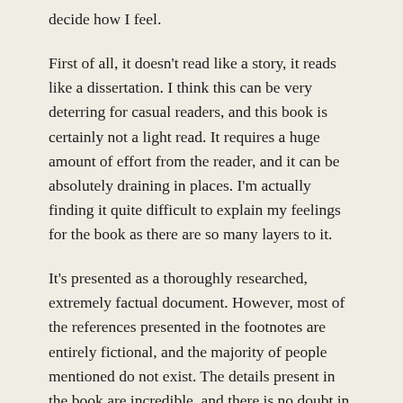decide how I feel.
First of all, it doesn't read like a story, it reads like a dissertation. I think this can be very deterring for casual readers, and this book is certainly not a light read. It requires a huge amount of effort from the reader, and it can be absolutely draining in places. I'm actually finding it quite difficult to explain my feelings for the book as there are so many layers to it.
It's presented as a thoroughly researched, extremely factual document. However, most of the references presented in the footnotes are entirely fictional, and the majority of people mentioned do not exist. The details present in the book are incredible, and there is no doubt in my mind that there are very few people in the world who could interpret these in their entirety, and successfully separate truth from fantasy.